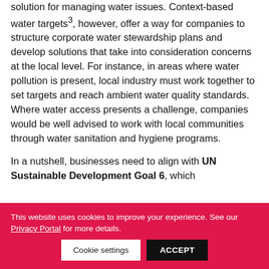solution for managing water issues. Context-based water targets³, however, offer a way for companies to structure corporate water stewardship plans and develop solutions that take into consideration concerns at the local level. For instance, in areas where water pollution is present, local industry must work together to set targets and reach ambient water quality standards. Where water access presents a challenge, companies would be well advised to work with local communities through water sanitation and hygiene programs.

In a nutshell, businesses need to align with UN Sustainable Development Goal 6, which
This website uses cookies to improve your experience. See our Privacy Portal for more details.